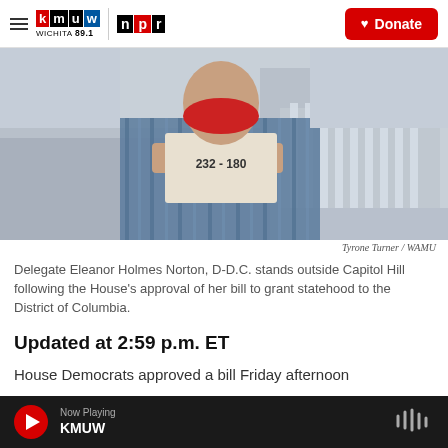KMUW WICHITA 89.1 | NPR | Donate
[Figure (photo): Person wearing a red face mask and striped blue shirt holding up a document (showing the number 232-180) outside Capitol Hill building in Washington D.C.]
Tyrone Turner / WAMU
Delegate Eleanor Holmes Norton, D-D.C. stands outside Capitol Hill following the House's approval of her bill to grant statehood to the District of Columbia.
Updated at 2:59 p.m. ET
House Democrats approved a bill Friday afternoon
Now Playing KMUW